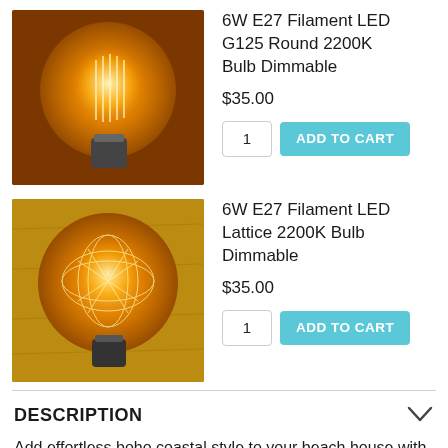[Figure (photo): Round LED filament bulb glowing warm amber/orange, globe shaped, lit against dark background]
6W E27 Filament LED G125 Round 2200K Bulb Dimmable
$35.00
1  ADD TO CART
[Figure (photo): LED lattice filament bulb with diamond/lattice pattern inside globe, glowing warm amber, lit against wooden background]
6W E27 Filament LED Lattice 2200K Bulb Dimmable
$35.00
1  ADD TO CART
DESCRIPTION
Add effortless boho coastal style to your beach house with the Beechmont Rattan Pendant. Made from sustainable materials, this rattan pendant light features a handcrafted shade that comes in large size with either